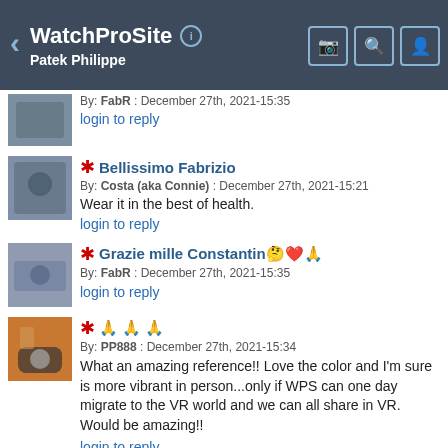WatchProSite — Patek Philippe
By: FabR : December 27th, 2021-15:35
login to reply
Bellissimo Fabrizio
By: Costa (aka Connie) : December 27th, 2021-15:21
Wear it in the best of health.
login to reply
Grazie mille Constantin🤍❤️🙏
By: FabR : December 27th, 2021-15:35
login to reply
🙏 🙏 🙏
By: PP888 : December 27th, 2021-15:34
What an amazing reference!! Love the color and I'm sure is more vibrant in person...only if WPS can one day migrate to the VR world and we can all share in VR. Would be amazing!!
login to reply
Indeed, hope you'll have a chance to see this